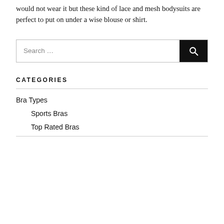would not wear it but these kind of lace and mesh bodysuits are perfect to put on under a wise blouse or shirt.
[Figure (other): Search box with text 'Search ...' and a black search button with magnifying glass icon]
CATEGORIES
Bra Types
Sports Bras
Top Rated Bras